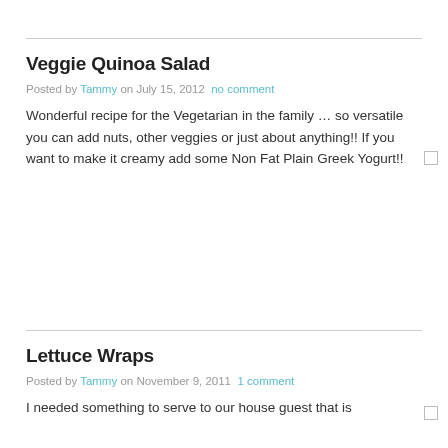Veggie Quinoa Salad
Posted by Tammy on July 15, 2012 no comment
Wonderful recipe for the Vegetarian in the family … so versatile you can add nuts, other veggies or just about anything!! If you want to make it creamy add some Non Fat Plain Greek Yogurt!!
Lettuce Wraps
Posted by Tammy on November 9, 2011 1 comment
I needed something to serve to our house guest that is